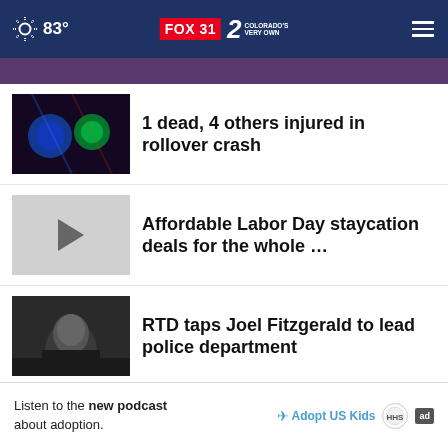83° FOX 31 2 COLORADO'S VERY OWN
1 dead, 4 others injured in rollover crash
Affordable Labor Day staycation deals for the whole …
RTD taps Joel Fitzgerald to lead police department
How Steamboat Springs is trying to fix housing issue
More Stories ›
Listen to the new podcast about adoption.